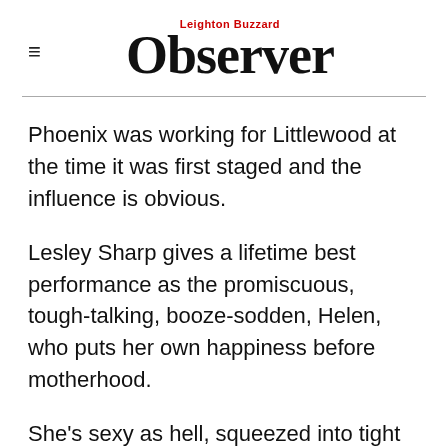Leighton Buzzard Observer
Phoenix was working for Littlewood at the time it was first staged and the influence is obvious.
Lesley Sharp gives a lifetime best performance as the promiscuous, tough-talking, booze-sodden, Helen, who puts her own happiness before motherhood.
She's sexy as hell, squeezed into tight pencil skirts and clingy tops, her bottle-blonde hair set into tight curls and is, what was called, "a good-